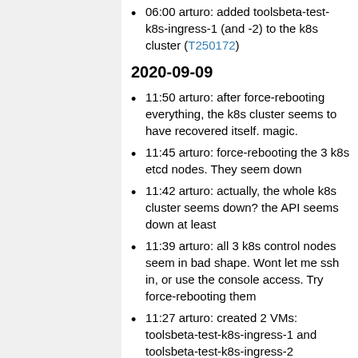06:00 arturo: added toolsbeta-test-k8s-ingress-1 (and -2) to the k8s cluster (T250172)
2020-09-09
11:50 arturo: after force-rebooting everything, the k8s cluster seems to have recovered itself. magic.
11:45 arturo: force-rebooting the 3 k8s etcd nodes. They seem down
11:42 arturo: actually, the whole k8s cluster seems down? the API seems down at least
11:39 arturo: all 3 k8s control nodes seem in bad shape. Wont let me ssh in, or use the console access. Try force-rebooting them
11:27 arturo: created 2 VMs: toolsbeta-test-k8s-ingress-1 and toolsbeta-test-k8s-ingress-2 (T250172)